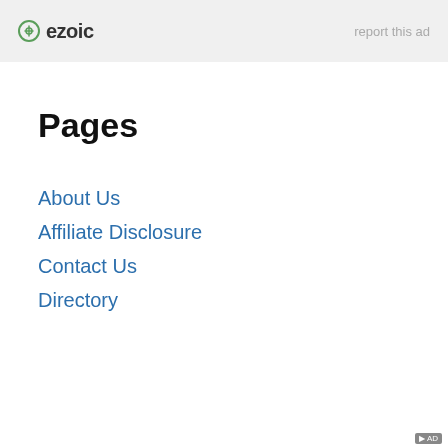ezoic   report this ad
Pages
About Us
Affiliate Disclosure
Contact Us
Directory
[Figure (screenshot): Overlapping video ad overlay showing 'No compatible source was found for this media.' with BetMGM Sportsbook install button, over a dark photo of a man in a suit holding a phone.]